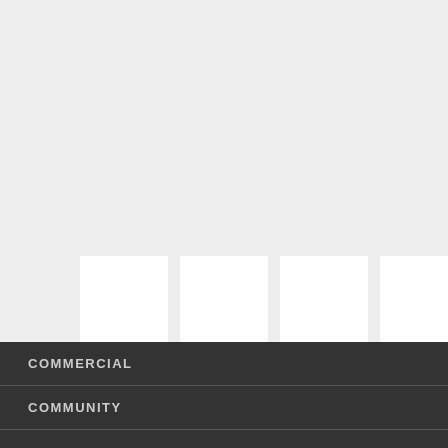[Figure (photo): Four white rectangular image placeholder boxes arranged in a horizontal row against a light gray background]
COMMERCIAL
COMMUNITY